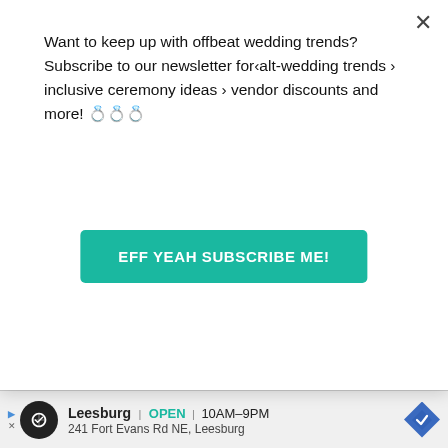Want to keep up with offbeat wedding trends?Subscribe to our newsletter for‹alt-wedding trends › inclusive ceremony ideas › vendor discounts and more! 💍💍💍
[Figure (screenshot): Teal/green subscribe button with white bold text: EFF YEAH SUBSCRIBE ME!]
[Figure (screenshot): Advertisement bar at bottom: Leesburg store, OPEN 10AM-9PM, 241 Fort Evans Rd NE Leesburg, with navigation diamond icon]